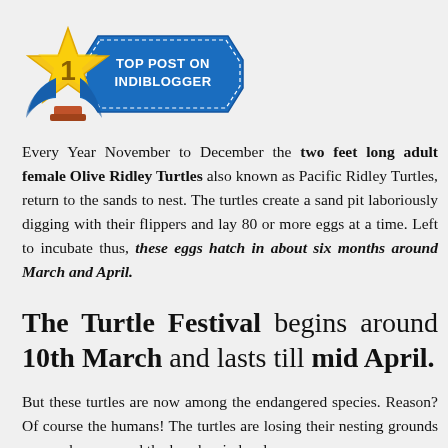[Figure (logo): Top Post on IndiBlogger badge with a gold star featuring number 1, blue ribbon/banner with text 'TOP POST ON INDIBLOGGER', and blue decorative elements]
Every Year November to December the two feet long adult female Olive Ridley Turtles also known as Pacific Ridley Turtles, return to the sands to nest. The turtles create a sand pit laboriously digging with their flippers and lay 80 or more eggs at a time. Left to incubate thus, these eggs hatch in about six months around March and April.
The Turtle Festival begins around 10th March and lasts till mid April.
But these turtles are now among the endangered species. Reason? Of course the humans! The turtles are losing their nesting grounds as man has usurped the beaches in hordes.